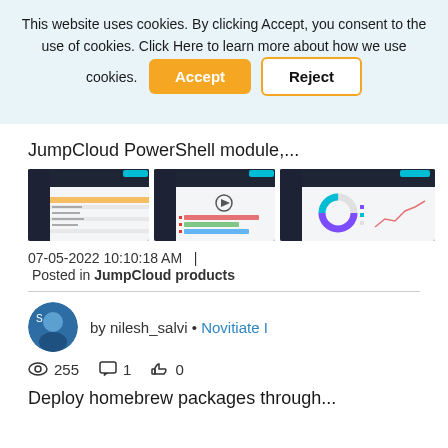This website uses cookies. By clicking Accept, you consent to the use of cookies. Click Here to learn more about how we use cookies.
Accept | Reject
JumpCloud PowerShell module,...
[Figure (screenshot): Three screenshots of JumpCloud admin dashboard UI showing tables, settings panels, and a donut/pie chart with line graph]
07-05-2022 10:10:18 AM   |
Posted in JumpCloud products
by nilesh_salvi • Novitiate I
255  1  0
Deploy homebrew packages through...